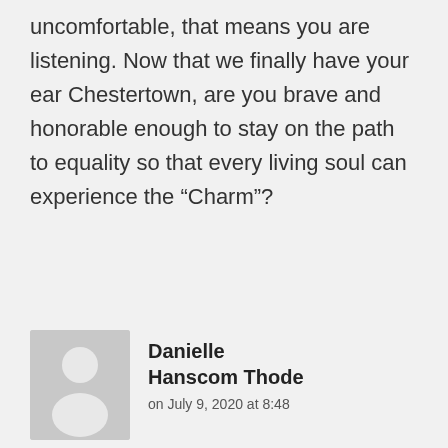uncomfortable, that means you are listening. Now that we finally have your ear Chestertown, are you brave and honorable enough to stay on the path to equality so that every living soul can experience the “Charm”?
[Figure (illustration): Generic user avatar placeholder: gray background with white silhouette of a person (head circle and shoulders)]
Danielle Hanscom Thode
on July 9, 2020 at 8:48